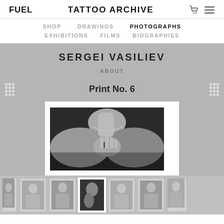FUEL   TATTOO ARCHIVE
SHOP   DRAWINGS   PHOTOGRAPHS   EXHIBITIONS   FILMS   BIOGRAPHIES
SERGEI VASILIEV
ABOUT
Print No. 6
[Figure (photo): Black and white photograph showing a person's neck, shoulder and hand with a ring and necklace, partially cropped]
[Figure (photo): Thumbnail strip showing 7 black and white photographs of tattooed individuals, the 4th thumbnail is selected/active]